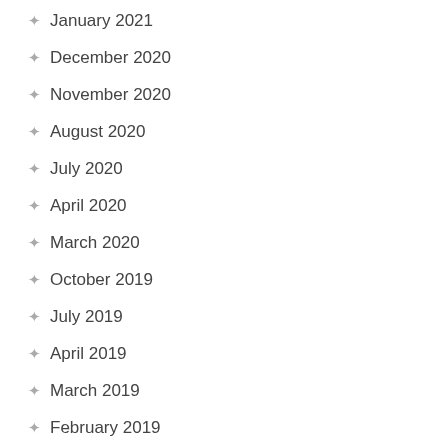January 2021
December 2020
November 2020
August 2020
July 2020
April 2020
March 2020
October 2019
July 2019
April 2019
March 2019
February 2019
January 2019
December 2018
November 2018
October 2018
September 2018
August 2018
July 2018